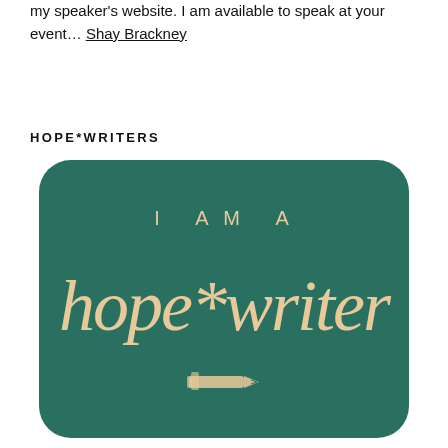my speaker's website. I am available to speak at your event… Shay Brackney
HOPE*WRITERS
[Figure (illustration): A teal/dark green rounded-rectangle card with the text 'I AM A' in spaced sans-serif capitals and 'hope*writer' in a large cursive/script font, both in a warm tan/gold color. A pen illustration appears at the bottom of the card.]